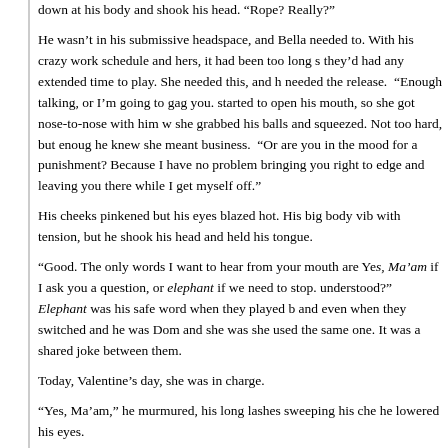down at his body and shook his head. “Rope? Really?”
He wasn’t in his submissive headspace, and Bella needed to. With his crazy work schedule and hers, it had been too long since they’d had any extended time to play. She needed this, and he needed the release. “Enough talking, or I’m going to gag you.” He started to open his mouth, so she got nose-to-nose with him while she grabbed his balls and squeezed. Not too hard, but enough that he knew she meant business. “Or are you in the mood for a punishment? Because I have no problem bringing you right to the edge and leaving you there while I get myself off.”
His cheeks pinkened but his eyes blazed hot. His big body vibrated with tension, but he shook his head and held his tongue.
“Good. The only words I want to hear from your mouth are Yes, Ma’am if I ask you a question, or elephant if we need to stop. Understood?” Elephant was his safe word when they played here, and even when they switched and he was Dom and she was sub, she used the same one. It was a shared joke between them.
Today, Valentine’s day, she was in charge.
“Yes, Ma’am,” he murmured, his long lashes sweeping his cheeks as he lowered his eyes.
Her dominant self cheered, but she held no illusions he’d totally submitted. Stubborn as the day was long, her hot Italian guy.